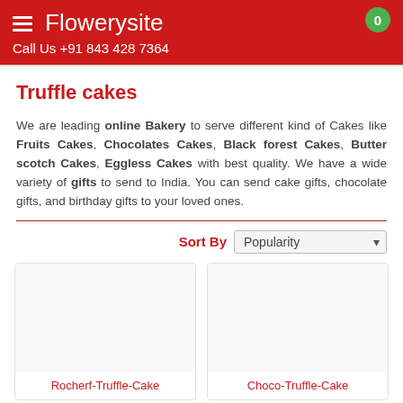Flowerysite
Call Us +91 843 428 7364
Truffle cakes
We are leading online Bakery to serve different kind of Cakes like Fruits Cakes, Chocolates Cakes, Black forest Cakes, Butter scotch Cakes, Eggless Cakes with best quality. We have a wide variety of gifts to send to India. You can send cake gifts, chocolate gifts, and birthday gifts to your loved ones.
Sort By  Popularity
[Figure (other): Product card for Rocherf-Truffle-Cake with empty image placeholder]
[Figure (other): Product card for Choco-Truffle-Cake with empty image placeholder]
Rocherf-Truffle-Cake
Choco-Truffle-Cake